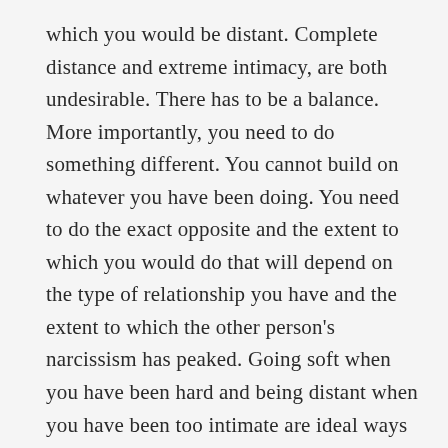which you would be distant. Complete distance and extreme intimacy, are both undesirable. There has to be a balance. More importantly, you need to do something different. You cannot build on whatever you have been doing. You need to do the exact opposite and the extent to which you would do that will depend on the type of relationship you have and the extent to which the other person's narcissism has peaked. Going soft when you have been hard and being distant when you have been too intimate are ideal ways to create physical boundaries.